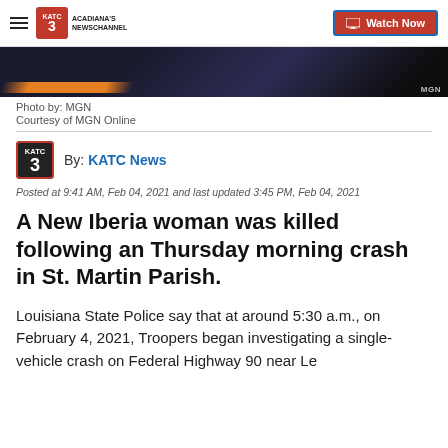Acadiana's Newschannel | Watch Now
[Figure (photo): Dark background image with orange diagonal stripe, MGN watermark in bottom right corner]
Photo by: MGN
Courtesy of MGN Online
By: KATC News
Posted at 9:41 AM, Feb 04, 2021 and last updated 3:45 PM, Feb 04, 2021
A New Iberia woman was killed following an Thursday morning crash in St. Martin Parish.
Louisiana State Police say that at around 5:30 a.m., on February 4, 2021, Troopers began investigating a single-vehicle crash on Federal Highway 90 near Le